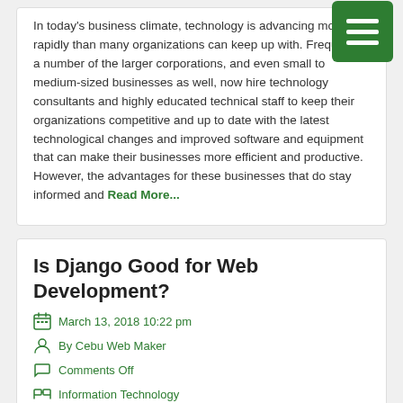In today's business climate, technology is advancing more rapidly than many organizations can keep up with. Frequently, a number of the larger corporations, and even small to medium-sized businesses as well, now hire technology consultants and highly educated technical staff to keep their organizations competitive and up to date with the latest technological changes and improved software and equipment that can make their businesses more efficient and productive. However, the advantages for these businesses that do stay informed and Read More...
Is Django Good for Web Development?
March 13, 2018 10:22 pm
By Cebu Web Maker
Comments Off
Information Technology